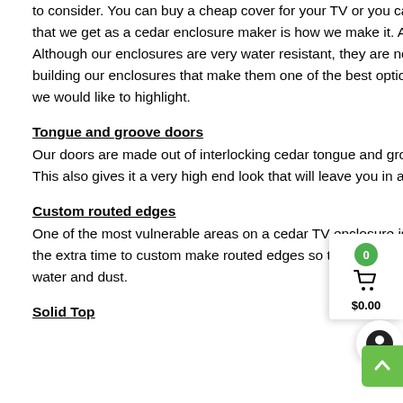to consider. You can buy a cheap cover for your TV or you can put your TV inside a cedar TV enclosure. One of the main questions that we get as a cedar enclosure maker is how we make it. A common misunderstanding is that they are completely waterproof. Although our enclosures are very water resistant, they are not 100% waterproof. However, there are several things that we do when building our enclosures that make them one of the best options on the market for protecting your TV. Here are some key features that we would like to highlight.
Tongue and groove doors
Our doors are made out of interlocking cedar tongue and groove boards that do not allow the shrinkage of cedar to become a factor. This also gives it a very high end look that will leave you in awe.
Custom routed edges
One of the most vulnerable areas on a cedar TV enclosure is the openings and gaps around the doors. Here at Patio Galaxy, we take the extra time to custom make routed edges so that when our doors are closed, there is no direct path to the inside of the box for water and dust.
Solid Top